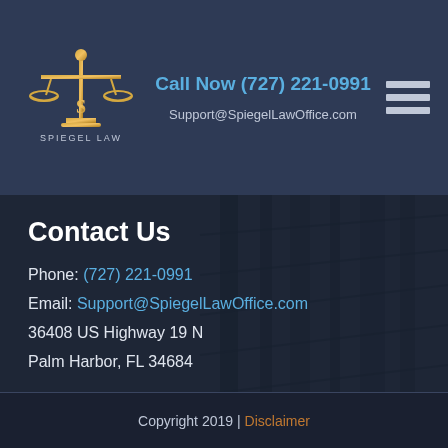[Figure (logo): Spiegel Law logo with scales of justice and 'SPIEGEL LAW' text]
Call Now (727) 221-0991
Support@SpiegelLawOffice.com
Contact Us
Phone: (727) 221-0991
Email: Support@SpiegelLawOffice.com
36408 US Highway 19 N
Palm Harbor, FL 34684
Copyright 2019 | Disclaimer